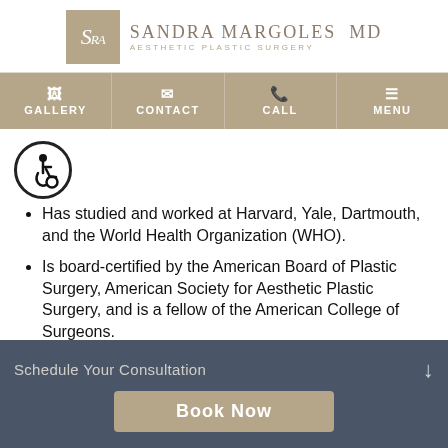[Figure (logo): Sandra Margoles MD Aesthetic Plastic Surgery logo with stylized SRM monogram in a tan square]
GALLERY | CONTACT | CALL | MENU
[Figure (illustration): Accessibility icon - person in wheelchair in a circle]
Has studied and worked at Harvard, Yale, Dartmouth, and the World Health Organization (WHO).
Is board-certified by the American Board of Plastic Surgery, American Society for Aesthetic Plastic Surgery, and is a fellow of the American College of Surgeons.
Dedicates her time to ensuring your experience is pleasant, positive, and rewarding.
Schedule Your Consultation
Book Now